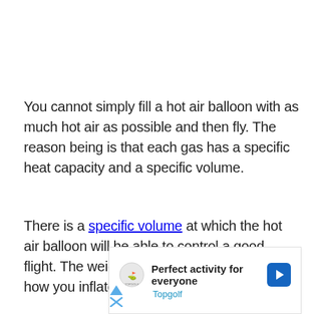You cannot simply fill a hot air balloon with as much hot air as possible and then fly. The reason being is that each gas has a specific heat capacity and a specific volume.
There is a specific volume at which the hot air balloon will be able to control a good flight. The weight of a balloon will determine how you inflate it, but also its performance.
[Figure (other): Advertisement banner for Topgolf showing logo, text 'Perfect activity for everyone', brand name 'Topgolf', and a blue navigation arrow icon]